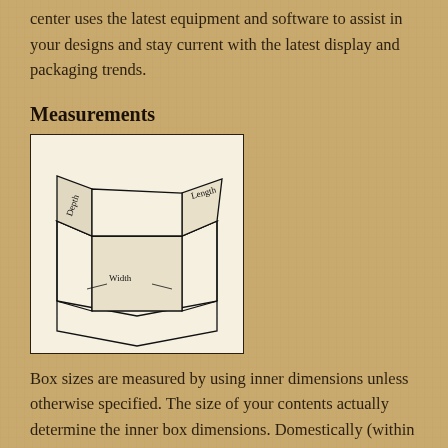center uses the latest equipment and software to assist in your designs and stay current with the latest display and packaging trends.
Measurements
[Figure (illustration): An open cardboard box drawn in black and white line art showing the three dimensions labeled: Depth, Length, and Width.]
Box sizes are measured by using inner dimensions unless otherwise specified. The size of your contents actually determine the inner box dimensions. Domestically (within the United States), those dimensions are listed in the following sequence: Length (L) x Width (W) x Depth (D)*. Internationally, the dimensions are stated as Length (L) x Breadth (B) x Height (H).